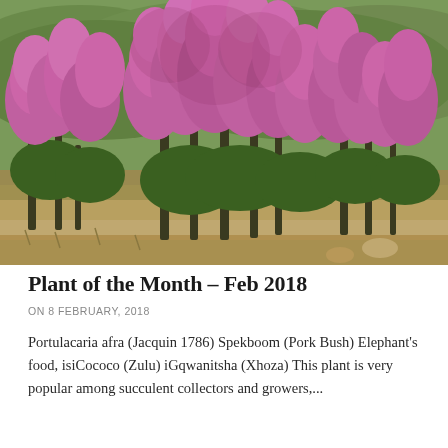[Figure (photo): Outdoor photograph of Portulacaria afra (Spekboom) bushes in bloom with dense pink-purple flowers against a mountainous scrubland background. Multiple large shrubs with bright magenta-pink flower clusters cover the frame, with green-brown hillsides visible in the background.]
Plant of the Month – Feb 2018
ON 8 FEBRUARY, 2018
Portulacaria afra (Jacquin 1786) Spekboom (Pork Bush) Elephant's food, isiCococo (Zulu) iGqwanitsha (Xhoza) This plant is very popular among succulent collectors and growers,...